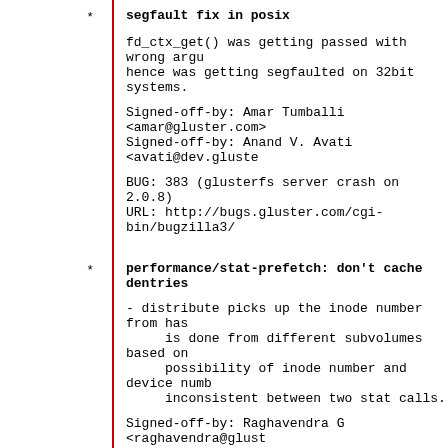segfault fix in posix
fd_ctx_get() was getting passed with wrong argu hence was getting segfaulted on 32bit systems.
Signed-off-by: Amar Tumballi <amar@gluster.com>
Signed-off-by: Anand V. Avati <avati@dev.gluste
BUG: 383 (glusterfs server crash on 2.0.8)
URL: http://bugs.gluster.com/cgi-bin/bugzilla3/
performance/stat-prefetch: don't cache dentries
- distribute picks up the inode number from has
     is done from different subvolumes based on
     possibility of inode number and device numb
     inconsistent between two stat calls.
Signed-off-by: Raghavendra G <raghavendra@glust
Signed-off-by: Anand V. Avati <avati@dev.gluste
BUG: 371 (rm -rf fails on stat-prefetch.)
URL: http://bugs.gluster.com/cgi-bin/bugzilla3/
performance/stat-prefetch: don't use pre-alloca